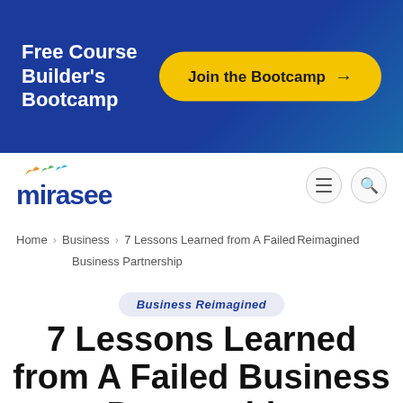[Figure (infographic): Blue banner advertisement for Free Course Builder's Bootcamp with yellow Join the Bootcamp button with arrow]
[Figure (logo): Mirasee logo with colorful bird icons above the text]
Home > Business Reimagined > 7 Lessons Learned from A Failed Business Partnership
Business Reimagined
7 Lessons Learned from A Failed Business Partnership